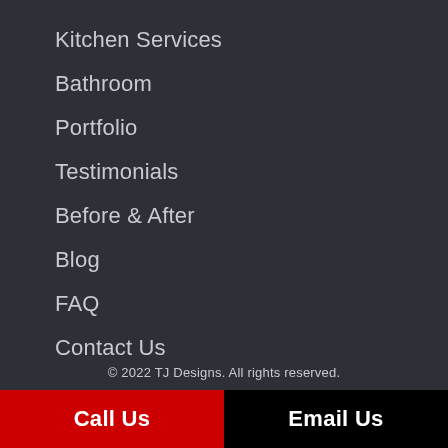Kitchen Services
Bathroom
Portfolio
Testimonials
Before & After
Blog
FAQ
Contact Us
© 2022 TJ Designs. All rights reserved.
Call Us
Email Us